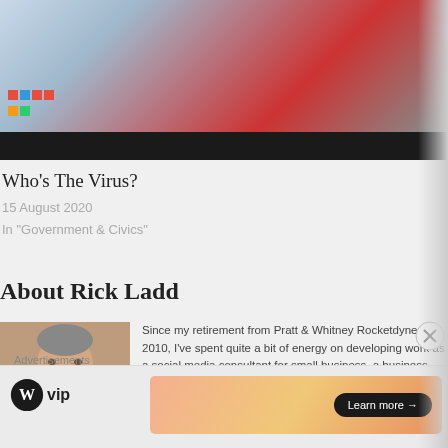[Figure (photo): Thumbnail image of two men in suits with American flags in background, C-SPAN watermark visible, black bar below image]
Who’s The Virus?
15 August 2020
In "Government & Civics"
About Rick Ladd
[Figure (photo): Headshot of Rick Ladd, an older man in a dark suit with a red tie, smiling]
Since my retirement from Pratt & Whitney Rocketdyne in 2010, I’ve spent quite a bit of energy on developing work as a social media consultant for small business, a business manager for an AI software development firm, and as an editor/proofreader for a number of business books and a couple of novels, as well as a two-year return engagement at Rocketdyne from 2015 to 2017. I have decided to stop actively pursuing business in these fields and am now positioning myself to be a writer. I have done quite a bit of writing over the years, but I’ve never really attempted to make any money at it; at least not specifically. I’m starting o…
Advertisements
[Figure (logo): WordPress VIP logo with W circle icon and 'vip' text]
[Figure (other): Advertisement banner with orange/pink gradient and 'Learn more →' button]